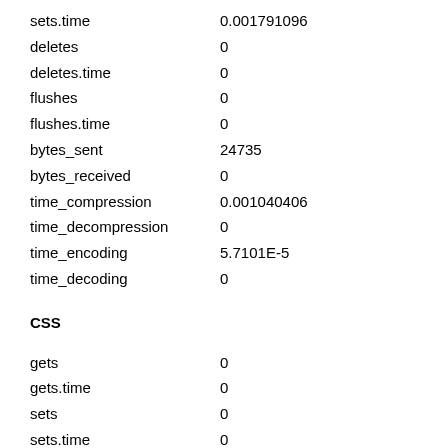sets.time    0.001791096
deletes    0
deletes.time    0
flushes    0
flushes.time    0
bytes_sent    24735
bytes_received    0
time_compression    0.001040406
time_decompression    0
time_encoding    5.7101E-5
time_decoding    0
CSS
gets    0
gets.time    0
sets    0
sets.time    0
deletes    0
deletes.time    0
flushes    0